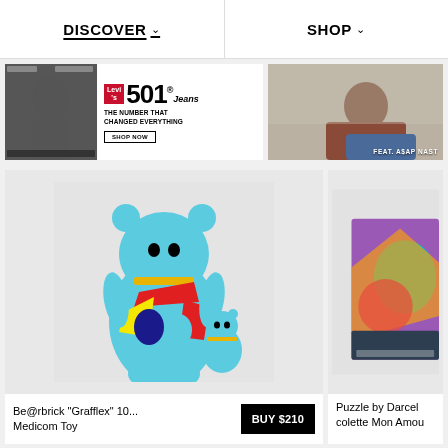DISCOVER   SHOP
[Figure (photo): Levi's 501 Jeans advertisement with black-and-white photo on left and red Levi's logo with '501 Jeans The Number That Changed Everything' text and SHOP NOW button]
[Figure (photo): Lifestyle photo of a person reclining wearing Levi's jeans with 'FEAT. A$AP NAST' label]
[Figure (photo): Be@rbrick Grafflex colorful blue bear figure toy, large and small versions]
Be@rbrick "Grafflex" 10...
Medicom Toy
BUY $210
[Figure (photo): Puzzle by Darcel colette Mon Amour colorful box partially visible]
Puzzle by Darcel
colette Mon Amou